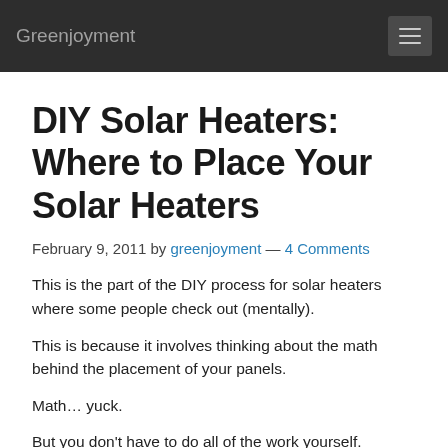Greenjoyment
DIY Solar Heaters: Where to Place Your Solar Heaters
February 9, 2011 by greenjoyment — 4 Comments
This is the part of the DIY process for solar heaters where some people check out (mentally).
This is because it involves thinking about the math behind the placement of your panels.
Math… yuck.
But you don't have to do all of the work yourself.
The good news is that there are TONS of calculators online to help